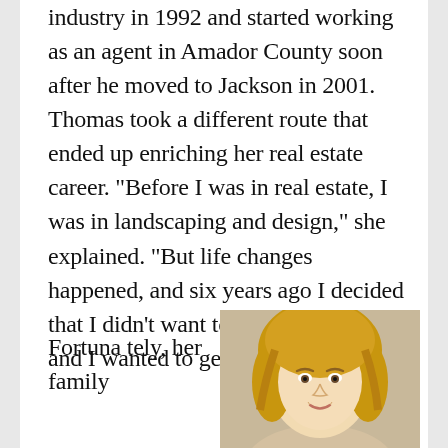industry in 1992 and started working as an agent in Amador County soon after he moved to Jackson in 2001. Thomas took a different route that ended up enriching her real estate career. “Before I was in real estate, I was in landscaping and design,” she explained. “But life changes happened, and six years ago I decided that I didn’t want to sit in an office, and I wanted to get out and about.”
Fortuna tely, her family
[Figure (photo): Portrait photo of a blonde woman, visible from shoulders up, cropped at the bottom of the frame]